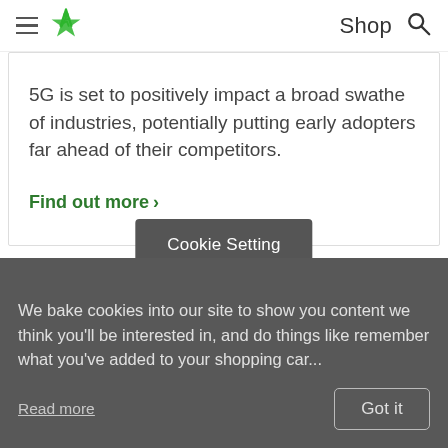Shop
5G is set to positively impact a broad swathe of industries, potentially putting early adopters far ahead of their competitors.
Find out more >
Cookie Setting
We bake cookies into our site to show you content we think you'll be interested in, and do things like remember what you've added to your shopping car...
Read more
Got it